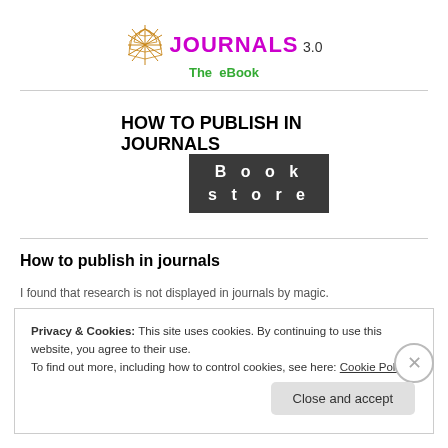[Figure (logo): Journals 3.0 / The eBook logo with spider web graphic]
[Figure (logo): How to Publish in Journals Bookstore logo — bold black text with dark grey bar reading 'Book store']
How to publish in journals
I found that research is not displayed in journals by magic.
Privacy & Cookies: This site uses cookies. By continuing to use this website, you agree to their use.
To find out more, including how to control cookies, see here: Cookie Policy